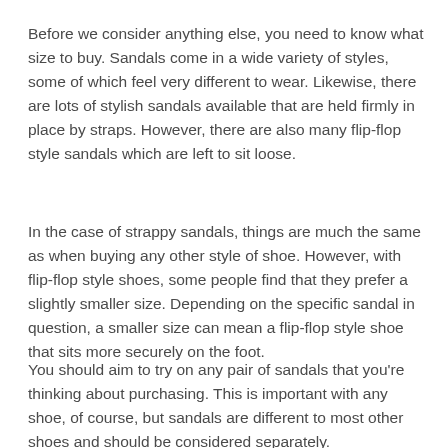Before we consider anything else, you need to know what size to buy. Sandals come in a wide variety of styles, some of which feel very different to wear. Likewise, there are lots of stylish sandals available that are held firmly in place by straps. However, there are also many flip-flop style sandals which are left to sit loose.
In the case of strappy sandals, things are much the same as when buying any other style of shoe. However, with flip-flop style shoes, some people find that they prefer a slightly smaller size. Depending on the specific sandal in question, a smaller size can mean a flip-flop style shoe that sits more securely on the foot.
You should aim to try on any pair of sandals that you're thinking about purchasing. This is important with any shoe, of course, but sandals are different to most other shoes and should be considered separately.